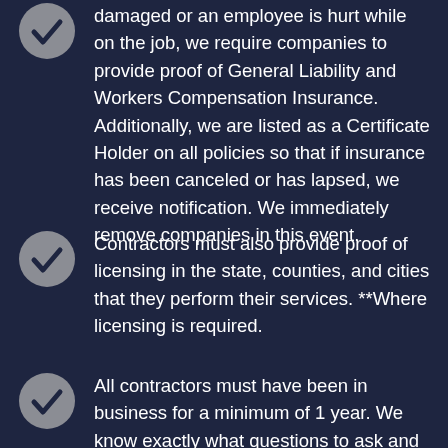damaged or an employee is hurt while on the job, we require companies to provide proof of General Liability and Workers Compensation Insurance. Additionally, we are listed as a Certificate Holder on all policies so that if insurance has been canceled or has lapsed, we receive notification. We immediately remove companies in this event.
Contractors must also provide proof of licensing in the state, counties, and cities that they perform their services. **Where licensing is required.
All contractors must have been in business for a minimum of 1 year. We know exactly what questions to ask and what to look for to verify a contractors